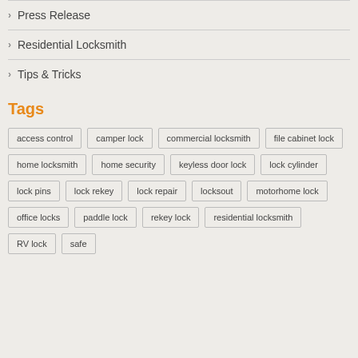Press Release
Residential Locksmith
Tips & Tricks
Tags
access control, camper lock, commercial locksmith, file cabinet lock, home locksmith, home security, keyless door lock, lock cylinder, lock pins, lock rekey, lock repair, locksout, motorhome lock, office locks, paddle lock, rekey lock, residential locksmith, RV lock, safe